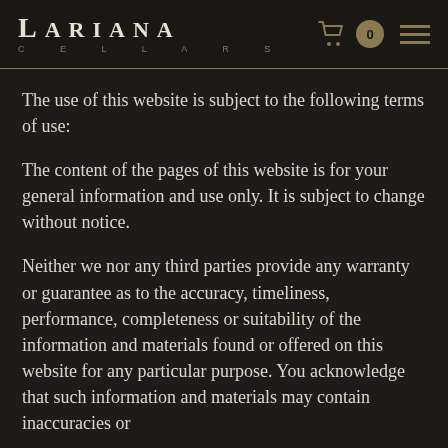LARIANA CELLARS
The use of this website is subject to the following terms of use:
The content of the pages of this website is for your general information and use only. It is subject to change without notice.
Neither we nor any third parties provide any warranty or guarantee as to the accuracy, timeliness, performance, completeness or suitability of the information and materials found or offered on this website for any particular purpose. You acknowledge that such information and materials may contain inaccuracies or